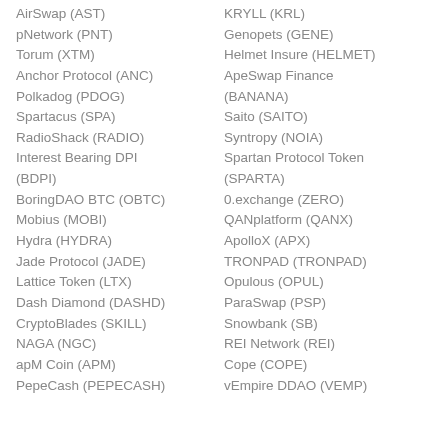AirSwap (AST)
pNetwork (PNT)
Torum (XTM)
Anchor Protocol (ANC)
Polkadog (PDOG)
Spartacus (SPA)
RadioShack (RADIO)
Interest Bearing DPI (BDPI)
BoringDAO BTC (OBTC)
Mobius (MOBI)
Hydra (HYDRA)
Jade Protocol (JADE)
Lattice Token (LTX)
Dash Diamond (DASHD)
CryptoBlades (SKILL)
NAGA (NGC)
apM Coin (APM)
PepeCash (PEPECASH)
KRYLL (KRL)
Genopets (GENE)
Helmet Insure (HELMET)
ApeSwap Finance (BANANA)
Saito (SAITO)
Syntropy (NOIA)
Spartan Protocol Token (SPARTA)
0.exchange (ZERO)
QANplatform (QANX)
ApolloX (APX)
TRONPAD (TRONPAD)
Opulous (OPUL)
ParaSwap (PSP)
Snowbank (SB)
REI Network (REI)
Cope (COPE)
vEmpire DDAO (VEMP)